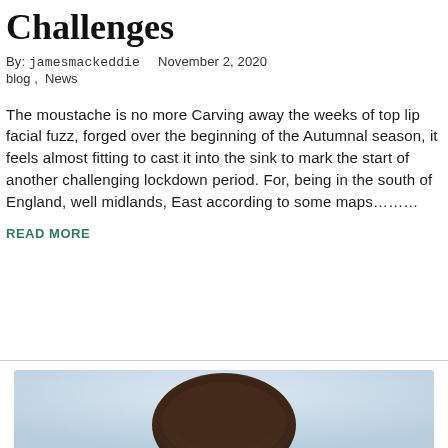Challenges
By: jamesmackeddie   November 2, 2020
blog ,  News
The moustache is no more Carving away the weeks of top lip facial fuzz, forged over the beginning of the Autumnal season, it feels almost fitting to cast it into the sink to mark the start of another challenging lockdown period. For, being in the south of England, well midlands, East according to some maps………
READ MORE
[Figure (photo): Partial head/portrait photo of a person, cropped at top of frame, showing hair and top of head against a light blue-grey background]